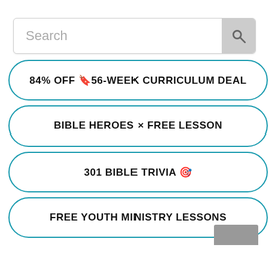[Figure (screenshot): Search bar with placeholder text 'Search' and a gray search icon button on the right]
84% OFF 🔖56-WEEK CURRICULUM DEAL
BIBLE HEROES × FREE LESSON
301 BIBLE TRIVIA 🎯
FREE YOUTH MINISTRY LESSONS